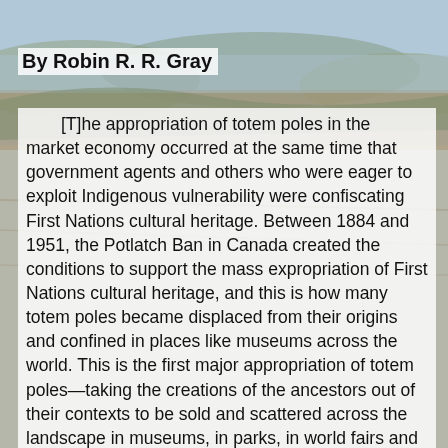[Figure (photo): Background landscape photo showing arid hills and a body of water, muted earth tones of tan, brown, and grey-blue.]
By Robin R. R. Gray
[T]he appropriation of totem poles in the market economy occurred at the same time that government agents and others who were eager to exploit Indigenous vulnerability were confiscating First Nations cultural heritage. Between 1884 and 1951, the Potlatch Ban in Canada created the conditions to support the mass expropriation of First Nations cultural heritage, and this is how many totem poles became displaced from their origins and confined in places like museums across the world. This is the first major appropriation of totem poles—taking the creations of the ancestors out of their contexts to be sold and scattered across the landscape in museums, in parks, in world fairs and in major tourist areas in spite of Indigenous peoples basic human rights. In fact, there was a rush to acquire as many tangible Indigenous artifacts because racist theories of human development suggested that somehow our people were destined to disappear into extinction. Thus, totem poles came to be associated